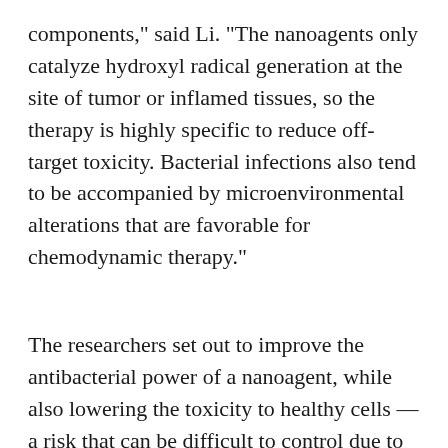components," said Li. "The nanoagents only catalyze hydroxyl radical generation at the site of tumor or inflamed tissues, so the therapy is highly specific to reduce off-target toxicity. Bacterial infections also tend to be accompanied by microenvironmental alterations that are favorable for chemodynamic therapy."
The researchers set out to improve the antibacterial power of a nanoagent, while also lowering the toxicity to healthy cells — a risk that can be difficult to control due to the invasive nature of infection.
"Positively charged molecule parts, such as quaternary ammonium salts and chitosan, have intrinsic antibacterial effects through adsorbing on the bacteria cell wall, producing compartment resistance effect and, finally, inducing bacterial death," said Li. "Metformin is a positively charged small molecule drug with reported anticancer, immunomodulatory and